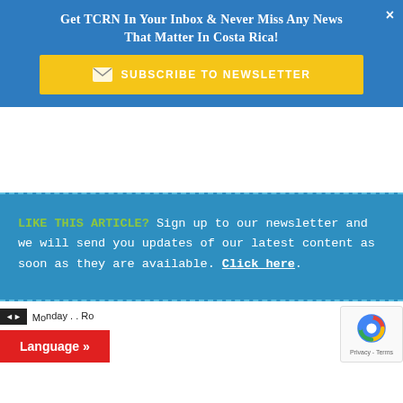Get TCRN In Your Inbox & Never Miss Any News That Matter In Costa Rica!
SUBSCRIBE TO NEWSLETTER
LIKE THIS ARTICLE? Sign up to our newsletter and we will send you updates of our latest content as soon as they are available. Click here.
Language »